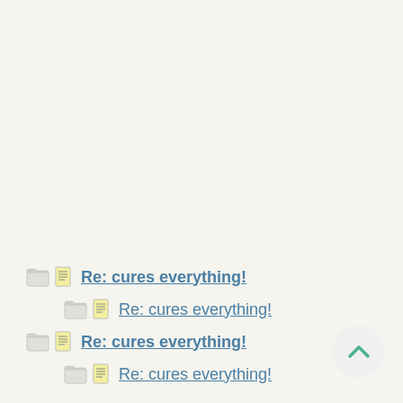Re: cures everything!
Re: cures everything!
Re: cures everything!
Re: cures everything!